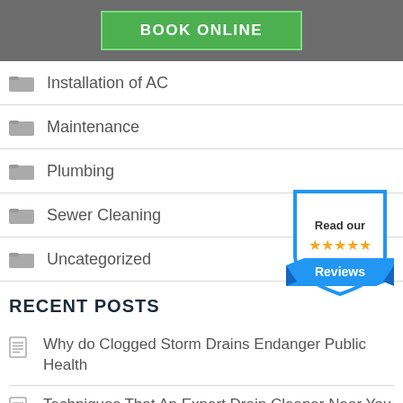[Figure (other): Green BOOK ONLINE button on grey header bar]
Installation of AC
Maintenance
Plumbing
Sewer Cleaning
[Figure (illustration): Blue shield badge with 'Read our ★★★★★ Reviews' text]
Uncategorized
RECENT POSTS
Why do Clogged Storm Drains Endanger Public Health
Techniques That An Expert Drain Cleaner Near You Follow